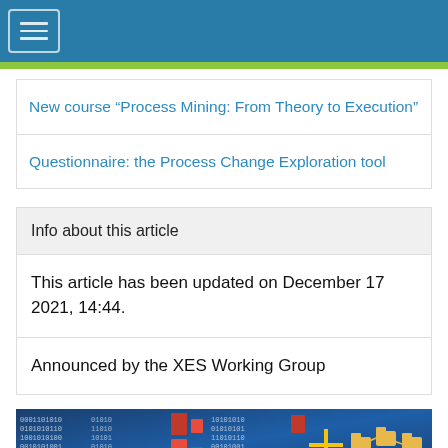New course “Process Mining: From Theory to Execution”
Questionnaire: the Process Change Exploration tool
Info about this article
This article has been updated on December 17 2021, 14:44.
Announced by the XES Working Group
[Figure (photo): Process mining themed image with binary code, colored folder icons, and a yellow crosshair graphic on a blue background]